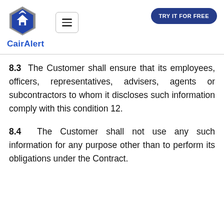[Figure (logo): CairAlert logo: hexagonal shape with house and wifi icon, dark blue and grey color scheme]
CairAlert
8.3 The Customer shall ensure that its employees, officers, representatives, advisers, agents or subcontractors to whom it discloses such information comply with this condition 12.
8.4 The Customer shall not use any such information for any purpose other than to perform its obligations under the Contract.